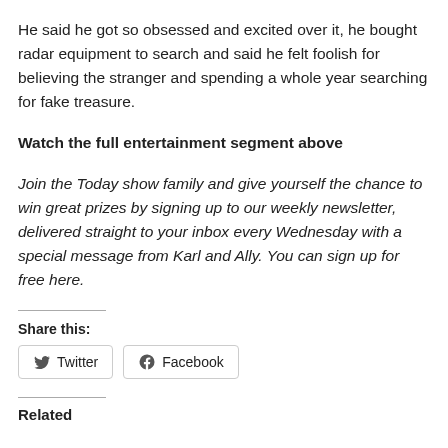He said he got so obsessed and excited over it, he bought radar equipment to search and said he felt foolish for believing the stranger and spending a whole year searching for fake treasure.
Watch the full entertainment segment above
Join the Today show family and give yourself the chance to win great prizes by signing up to our weekly newsletter, delivered straight to your inbox every Wednesday with a special message from Karl and Ally. You can sign up for free here.
Share this:
Twitter  Facebook
Related